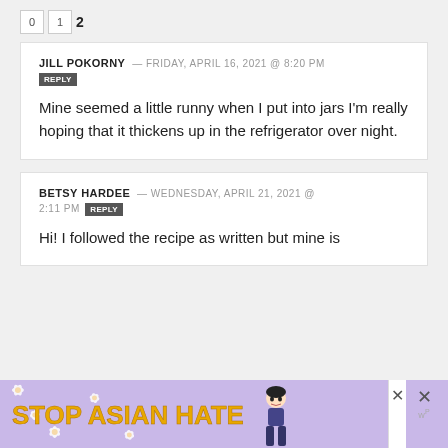0  1  2
JILL POKORNY — FRIDAY, APRIL 16, 2021 @ 8:20 PM
REPLY
Mine seemed a little runny when I put into jars I'm really hoping that it thickens up in the refrigerator over night.
BETSY HARDEE — WEDNESDAY, APRIL 21, 2021 @ 2:11 PM
REPLY
Hi! I followed the recipe as written but mine is
[Figure (infographic): Stop Asian Hate advertisement banner with purple background, white flowers, anime-style figure, yellow bold text reading STOP ASIAN HATE, and close buttons]